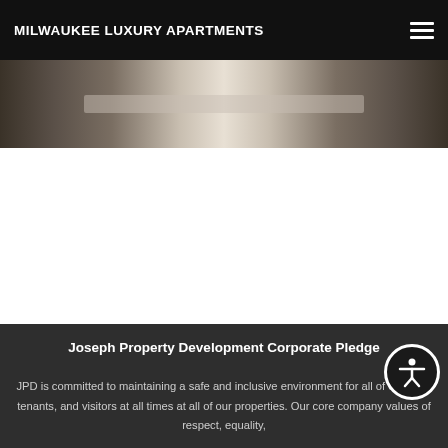MILWAUKEE LUXURY APARTMENTS
[Figure (photo): Partial view of an interior photo strip at the top of the page, showing a decorative scene with dark tones]
Joseph Property Development Corporate Pledge
JPD is committed to maintaining a safe and inclusive environment for all of our staff, tenants, and visitors at all times at all of our properties. Our core company values of respect, equality,